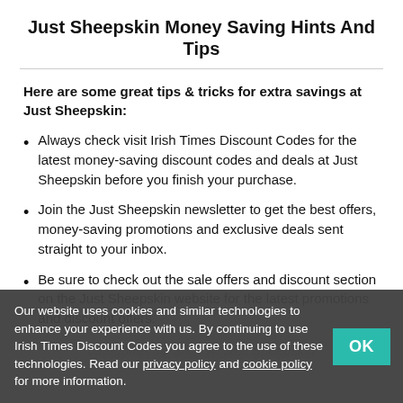Just Sheepskin Money Saving Hints And Tips
Here are some great tips & tricks for extra savings at Just Sheepskin:
Always check visit Irish Times Discount Codes for the latest money-saving discount codes and deals at Just Sheepskin before you finish your purchase.
Join the Just Sheepskin newsletter to get the best offers, money-saving promotions and exclusive deals sent straight to your inbox.
Be sure to check out the sale offers and discount section on the Just Sheepskin website for the latest promotions and discount offers.
Our website uses cookies and similar technologies to enhance your experience with us. By continuing to use Irish Times Discount Codes you agree to the use of these technologies. Read our privacy policy and cookie policy for more information.